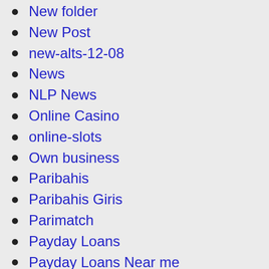New folder
New Post
new-alts-12-08
News
NLP News
Online Casino
online-slots
Own business
Paribahis
Paribahis Giris
Parimatch
Payday Loans
Payday Loans Near me
Payday Loans USA
Play Rom Games
PM
Release Found Free Download